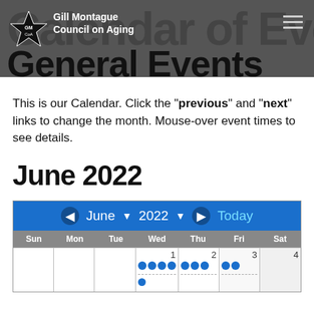Gill Montague Council on Aging — Calendar of Events: General Events
Calendar of Events:
General Events
This is our Calendar. Click the "previous" and "next" links to change the month. Mouse-over event times to see details.
June 2022
[Figure (other): Calendar widget showing June 2022 with navigation controls (previous/next arrows, month dropdown, year dropdown, Today button), day headers (Sun, Mon, Tue, Wed, Thu, Fri, Sat), and first row showing dates 1-4 (Wed–Sat) with blue event dots and dashed lines below.]